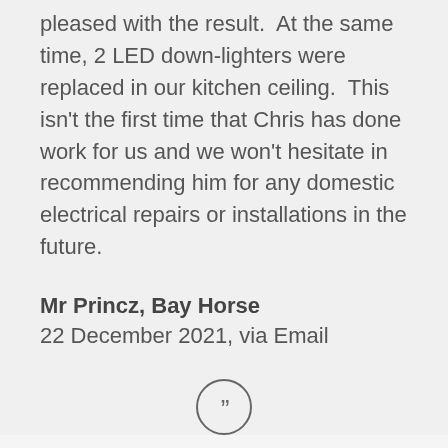pleased with the result.  At the same time, 2 LED down-lighters were replaced in our kitchen ceiling.  This isn't the first time that Chris has done work for us and we won't hesitate in recommending him for any domestic electrical repairs or installations in the future.
Mr Princz, Bay Horse
22 December 2021, via Email
This was the first time we have used Chris whom we found in the Garstang and district Home Handbook.  The points made therein: 'prompt, reliable, neat and